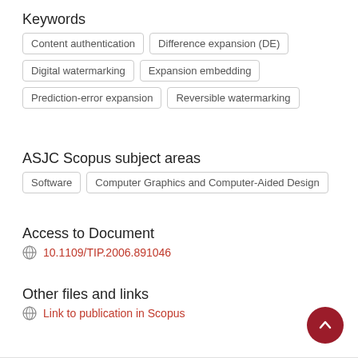Keywords
Content authentication
Difference expansion (DE)
Digital watermarking
Expansion embedding
Prediction-error expansion
Reversible watermarking
ASJC Scopus subject areas
Software
Computer Graphics and Computer-Aided Design
Access to Document
10.1109/TIP.2006.891046
Other files and links
Link to publication in Scopus